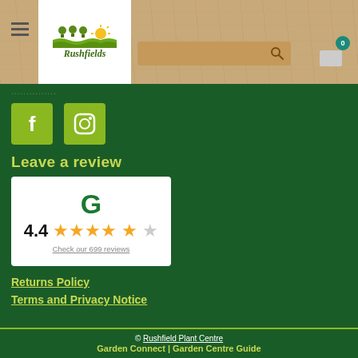[Figure (logo): Rushfields Plant Centre logo with sun, trees and fields on white background, set in a wood-grain header]
Leave a review
[Figure (other): Google review widget showing 4.4 stars from 699 reviews]
Returns Policy
Terms and Privacy Notice
© Rushfield Plant Centre
Garden Connect | Garden Centre Guide